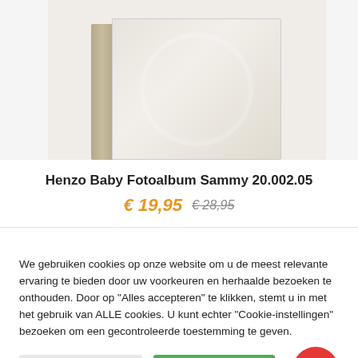[Figure (photo): Product photo of a cream/beige baby photo album (Henzo Baby Fotoalbum Sammy) shown at an angle, with a tan spine and embossed circular design on the cover.]
Henzo Baby Fotoalbum Sammy 20.002.05
€ 19,95  € 28,95
We gebruiken cookies op onze website om u de meest relevante ervaring te bieden door uw voorkeuren en herhaalde bezoeken te onthouden. Door op "Alles accepteren" te klikken, stemt u in met het gebruik van ALLE cookies. U kunt echter "Cookie-instellingen" bezoeken om een gecontroleerde toestemming te geven.
Cookie Instellingen
Accepteer alles